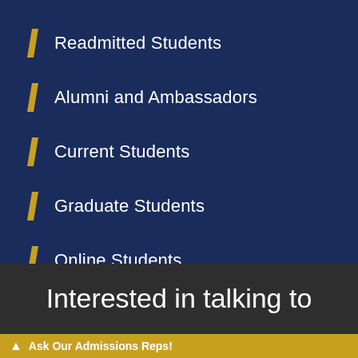Readmitted Students
Alumni and Ambassadors
Current Students
Graduate Students
Online Students
Interested in talking to
Ask Our Admissions Reps!